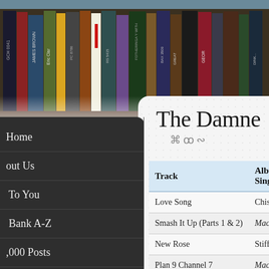[Figure (photo): Bookshelf photo showing spines of various vinyl records/books including James Brown, Eric Clapton, and others]
The Damne
| Track | Album / Single |
| --- | --- |
| Love Song | Chiswick CHIS |
| Smash It Up (Parts 1 & 2) | Machine Gun E |
| New Rose | Stiff Records B |
| Plan 9 Channel 7 | Machine Gun E |
| Wait For The Blackout | The Black Albu |
| Looking At You | Machine Gun B |
Home
About Us
... To You
... Bank A-Z
...,000 Posts
...onology